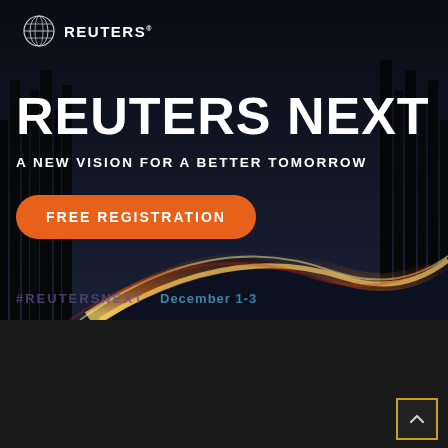[Figure (photo): Reuters Next advertisement banner with dark night road background showing light trails. Features Reuters logo top left, large 'REUTERS NEXT' headline, tagline 'A NEW VISION FOR A BETTER TOMORROW', orange 'FREE REGISTRATION' button, and hashtag/date text at bottom.]
REUTERS NEXT
A NEW VISION FOR A BETTER TOMORROW
FREE REGISTRATION
#REUTERSNEXT   December 1-3
×
› Privacy Preferences
I Agree